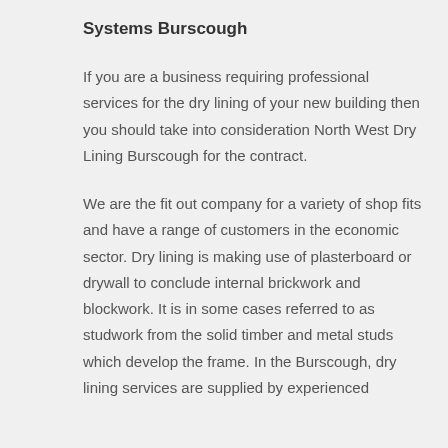Systems Burscough
If you are a business requiring professional services for the dry lining of your new building then you should take into consideration North West Dry Lining Burscough for the contract.
We are the fit out company for a variety of shop fits and have a range of customers in the economic sector. Dry lining is making use of plasterboard or drywall to conclude internal brickwork and blockwork. It is in some cases referred to as studwork from the solid timber and metal studs which develop the frame. In the Burscough, dry lining services are supplied by experienced